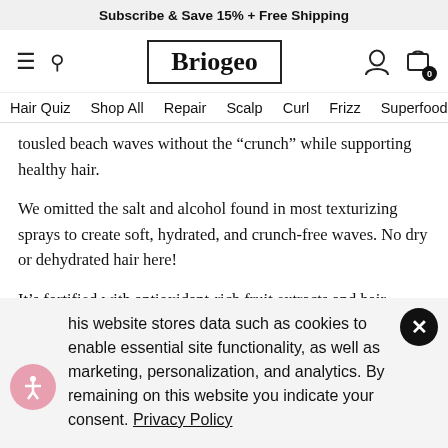Subscribe & Save 15% + Free Shipping
[Figure (logo): Briogeo logo with hamburger menu, search icon, user icon, and cart icon with badge 0]
Hair Quiz  Shop All  Repair  Scalp  Curl  Frizz  Superfoods
tousled beach waves without the "crunch" while supporting healthy hair.
We omitted the salt and alcohol found in most texturizing sprays to create soft, hydrated, and crunch-free waves. No dry or dehydrated hair here!
It's fortified with antioxidant-rich fruit extracts and hair-strengthening vitamins to help support long-term hair
his website stores data such as cookies to enable essential site functionality, as well as marketing, personalization, and analytics. By remaining on this website you indicate your consent. Privacy Policy